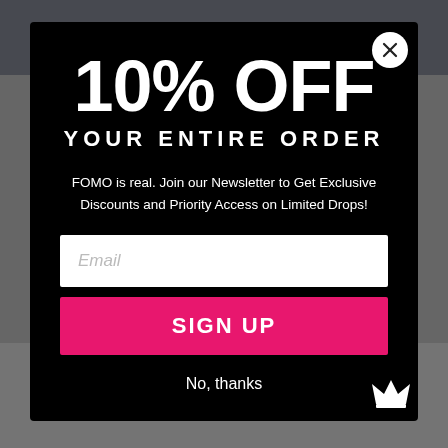[Figure (screenshot): E-commerce website popup modal with dark background showing a promotional offer]
10% OFF
YOUR ENTIRE ORDER
FOMO is real. Join our Newsletter to Get Exclusive Discounts and Priority Access on Limited Drops!
Email
SIGN UP
No, thanks
Water Is Benevolent - Coasters